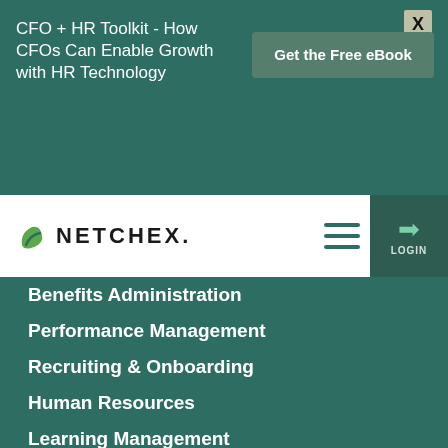CFO + HR Toolkit - How CFOs Can Enable Growth with HR Technology
Get the Free eBook
[Figure (logo): Netchex logo with green leaf icon and bold text NETCHEX.]
Benefits Administration
Performance Management
Recruiting & Onboarding
Human Resources
Learning Management
Reporting & Analytics
Compare
ADP
Kronos
Patriot Software